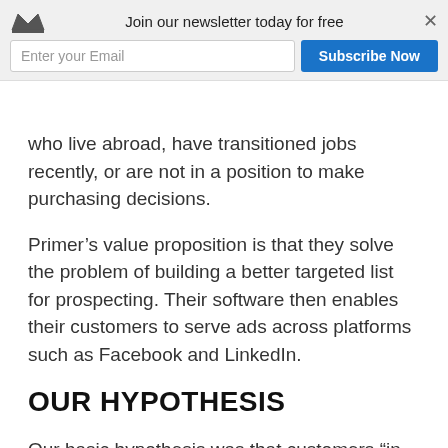[Figure (screenshot): Newsletter subscription overlay bar with crown logo, 'Join our newsletter today for free' text, email input field, Subscribe Now button, and close X button]
who live abroad, have transitioned jobs recently, or are not in a position to make purchasing decisions.
Primer’s value proposition is that they solve the problem of building a better targeted list for prospecting. Their software then enables their customers to serve ads across platforms such as Facebook and LinkedIn.
OUR HYPOTHESIS
Our basic hypothesis was that customers “in pain” are much more receptive to solutions tailored specifically to solving their pain, as opposed to the more vague, persona-based marketing campaign approach. We also believed that we could find data that indicates a